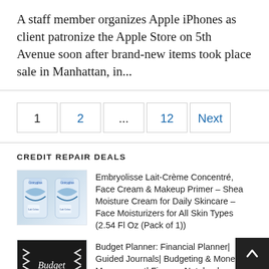A staff member organizes Apple iPhones as client patronize the Apple Store on 5th Avenue soon after brand-new items took place sale in Manhattan, in...
1  2  ...  12  Next
CREDIT REPAIR DEALS
[Figure (photo): Two Embryolisse Lait-Crème Concentré product tubes side by side]
Embryolisse Lait-Crème Concentré, Face Cream & Makeup Primer – Shea Moisture Cream for Daily Skincare – Face Moisturizers for All Skin Types (2.54 Fl Oz (Pack of 1))
[Figure (photo): Budget Planner book cover with black background, arrow pattern, and script lettering]
Budget Planner: Financial Planner| Guided Journals| Budgeting & Money Management| Finance Notebook